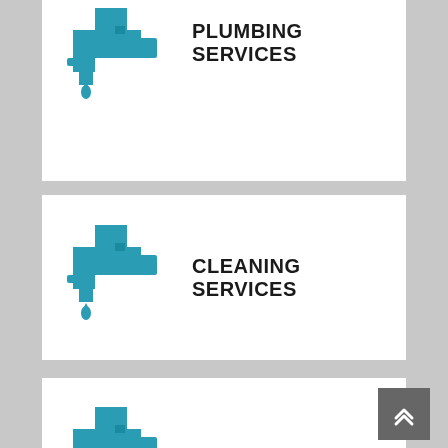[Figure (illustration): Teal plumbing pipe/valve icon with water drop, partially visible at top of page]
PLUMBING SERVICES
[Figure (illustration): Teal plumbing pipe/valve icon with water drop]
CLEANING SERVICES
[Figure (illustration): Teal plumbing pipe/valve icon with water drop]
GAS LINE SERVICES
[Figure (illustration): Teal plumbing pipe/valve icon with water drop, partially visible at bottom]
WATER TREATMENT SERVICES